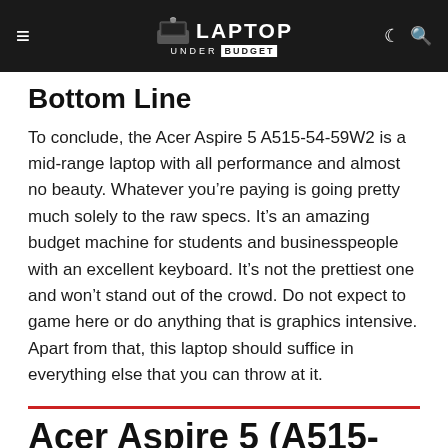≡ LAPTOP UNDER BUDGET
Bottom Line
To conclude, the Acer Aspire 5 A515-54-59W2 is a mid-range laptop with all performance and almost no beauty. Whatever you're paying is going pretty much solely to the raw specs. It's an amazing budget machine for students and businesspeople with an excellent keyboard. It's not the prettiest one and won't stand out of the crowd. Do not expect to game here or do anything that is graphics intensive. Apart from that, this laptop should suffice in everything else that you can throw at it.
Acer Aspire 5 (A515-